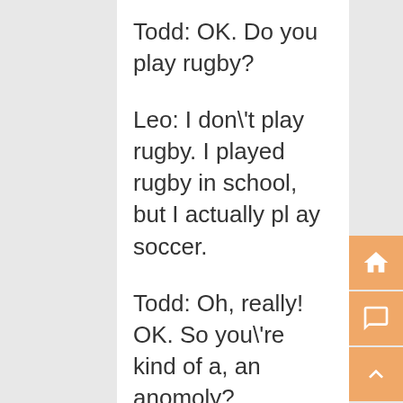Todd: OK. Do you play rugby?
Leo: I don\'t play rugby. I played rugby in school, but I actually play soccer.
Todd: Oh, really! OK. So you\'re kind of a, an anomoly?
Leo: Yes, yes, yes! I do support the team, and I like to watch all the games.